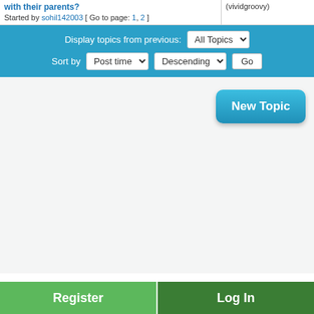with their parents? Started by sohil142003 [ Go to page: 1, 2 ]
(vividgroovy)
Display topics from previous: All Topics
Sort by Post time Descending Go
New Topic
Register
Log In